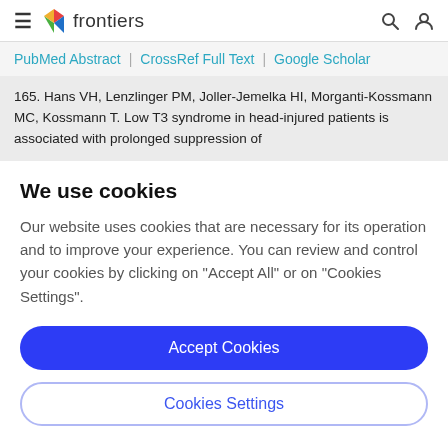frontiers
PubMed Abstract | CrossRef Full Text | Google Scholar
165. Hans VH, Lenzlinger PM, Joller-Jemelka HI, Morganti-Kossmann MC, Kossmann T. Low T3 syndrome in head-injured patients is associated with prolonged suppression of
We use cookies
Our website uses cookies that are necessary for its operation and to improve your experience. You can review and control your cookies by clicking on "Accept All" or on "Cookies Settings".
Accept Cookies
Cookies Settings